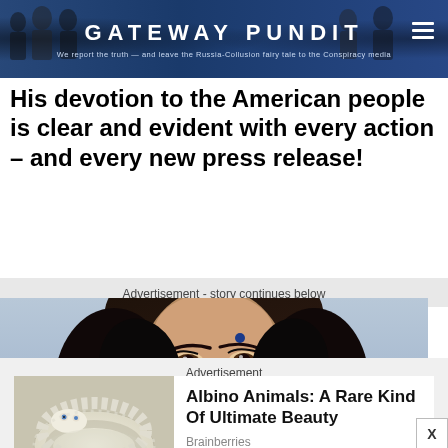GATEWAY PUNDIT — We report the truth — and leave the Russia-Collusion fairy tale to the Conspiracy media
His devotion to the American people is clear and evident with every action – and every new press release!
Advertisement - story continues below
[Figure (photo): Close-up portrait photograph of a young woman with dark wavy hair, a bindi on her forehead, and gold earrings, looking directly at the camera]
Advertisement
[Figure (photo): Close-up photo of a white albino snake coiled up]
Albino Animals: A Rare Kind Of Ultimate Beauty
Brainberries